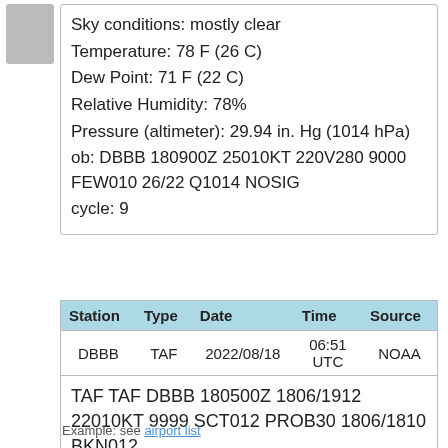Sky conditions: mostly clear
Temperature: 78 F (26 C)
Dew Point: 71 F (22 C)
Relative Humidity: 78%
Pressure (altimeter): 29.94 in. Hg (1014 hPa)
ob: DBBB 180900Z 25010KT 220V280 9000 FEW010 26/22 Q1014 NOSIG
cycle: 9
| Station | Type | Date | Time | Source |
| --- | --- | --- | --- | --- |
| DBBB | TAF | 2022/08/18 | 06:51 UTC | NOAA |
| TAF TAF DBBB 180500Z 1806/1912 22010KT 9999 SCT012 PROB30 1806/1810 BKN012 |  |  |  |  |
Example: see airport list